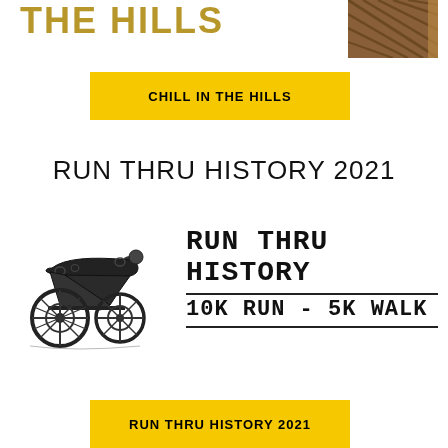THE HILLS
[Figure (photo): Photo of wooden pergola or trellis structure]
CHILL IN THE HILLS
RUN THRU HISTORY 2021
[Figure (illustration): Logo with Civil War cannon illustration on left and text RUN THRU HISTORY / 10K RUN - 5K WALK on right]
RUN THRU HISTORY 2021